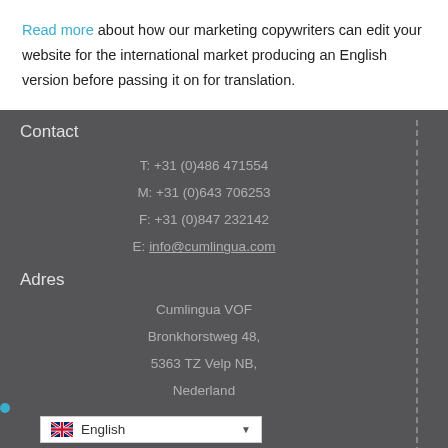Read more about how our marketing copywriters can edit your website for the international market producing an English version before passing it on for translation.
Contact
T: +31 (0)486 471554
M: +31 (0)643 706253
F: +31 (0)847 232142
E: info@cumlingua.com
Adres
Cumlingua VOF
Bronkhorstweg 48,
5363 TZ Velp NB,
Nederland
Designed by STUDIO ARENS.